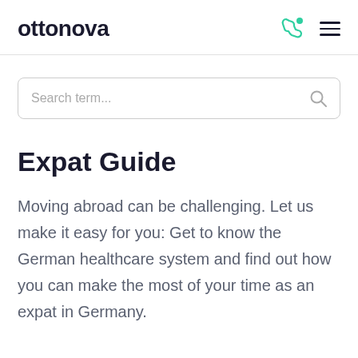ottonova
Search term...
Expat Guide
Moving abroad can be challenging. Let us make it easy for you: Get to know the German healthcare system and find out how you can make the most of your time as an expat in Germany.